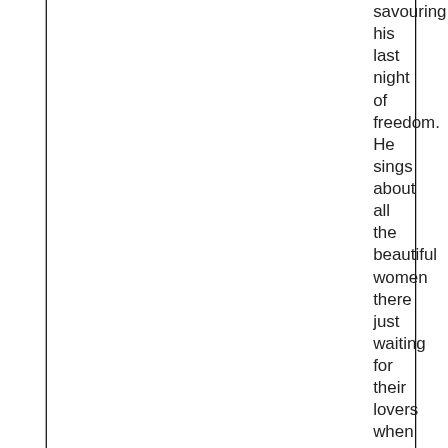savouring his last night of freedom. He sings about all the beautiful women there just waiting for their lovers when he espies Illona, a former lover, whom he has told he was going